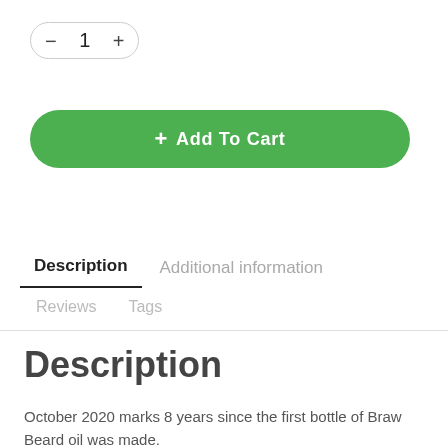[Figure (screenshot): Quantity stepper UI element showing minus button, number 1, and plus button inside a pill-shaped border]
[Figure (screenshot): Green pill-shaped Add To Cart button with plus icon and white text]
Description	Additional information
Reviews	Tags
Description
October 2020 marks 8 years since the first bottle of Braw Beard oil was made.